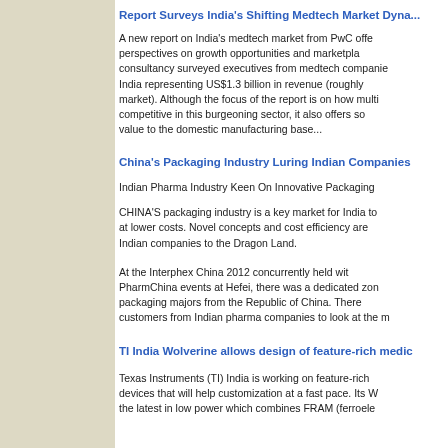Report Surveys India's Shifting Medtech Market Dynamics
A new report on India's medtech market from PwC offers perspectives on growth opportunities and marketplace. The consultancy surveyed executives from medtech companies operating in India representing US$1.3 billion in revenue (roughly the market). Although the focus of the report is on how multinationals competitive in this burgeoning sector, it also offers some value to the domestic manufacturing base...
China's Packaging Industry Luring Indian Companies
Indian Pharma Industry Keen On Innovative Packaging
CHINA'S packaging industry is a key market for India to at lower costs. Novel concepts and cost efficiency are Indian companies to the Dragon Land.
At the Interphex China 2012 concurrently held with PharmChina events at Hefei, there was a dedicated zone packaging majors from the Republic of China. There customers from Indian pharma companies to look at the m
TI India Wolverine allows design of feature-rich medic
Texas Instruments (TI) India is working on feature-rich devices that will help customization at a fast pace. Its W the latest in low power which combines FRAM (ferroele...